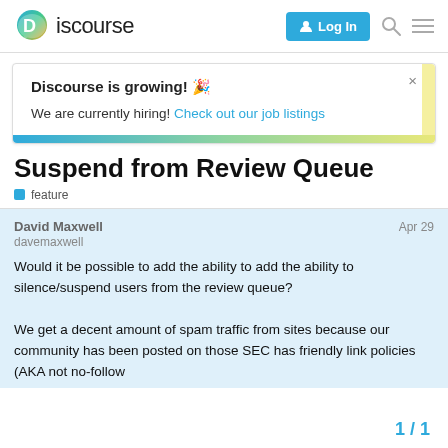Discourse — Log In
Discourse is growing! 🎉
We are currently hiring! Check out our job listings
Suspend from Review Queue
feature
David Maxwell
davemaxwell
Apr 29
Would it be possible to add the ability to add the ability to silence/suspend users from the review queue?

We get a decent amount of spam traffic from sites because our community has been posted on those SEC has friendly link policies (AKA not no-follow
1 / 1